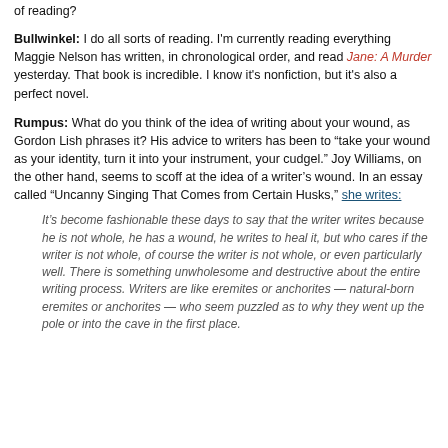of reading?
Bullwinkel: I do all sorts of reading. I'm currently reading everything Maggie Nelson has written, in chronological order, and read Jane: A Murder yesterday. That book is incredible. I know it's nonfiction, but it's also a perfect novel.
Rumpus: What do you think of the idea of writing about your wound, as Gordon Lish phrases it? His advice to writers has been to "take your wound as your identity, turn it into your instrument, your cudgel." Joy Williams, on the other hand, seems to scoff at the idea of a writer's wound. In an essay called “Uncanny Singing That Comes from Certain Husks,” she writes:
It’s become fashionable these days to say that the writer writes because he is not whole, he has a wound, he writes to heal it, but who cares if the writer is not whole, of course the writer is not whole, or even particularly well. There is something unwholesome and destructive about the entire writing process. Writers are like eremites or anchorites — natural-born eremites or anchorites — who seem puzzled as to why they went up the pole or into the cave in the first place.